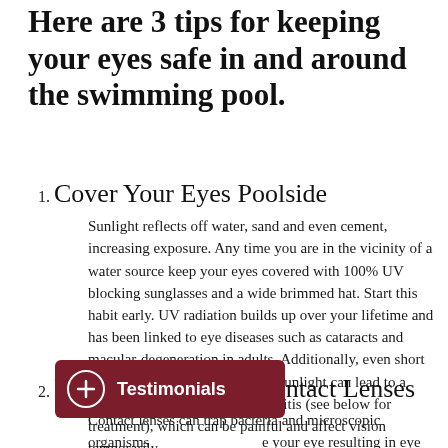Here are 3 tips for keeping your eyes safe in and around the swimming pool.
1. Cover Your Eyes Poolside
Sunlight reflects off water, sand and even cement, increasing exposure. Any time you are in the vicinity of a water source keep your eyes covered with 100% UV blocking sunglasses and a wide brimmed hat. Start this habit early. UV radiation builds up over your lifetime and has been linked to eye diseases such as cataracts and macular-degeneration in adults. Additionally, even short amounts of exposure to intense sunlight can lead to a sunburn of the eye or photokeratitis (see below for treatment), which can be painful and affect vision temporarily.
2. Remove or Protect Contact Lenses
Contact lenses can trap bacteria and microscopic organisms [in] your eye resulting in eye infections and irritation. Further, if contacts are worn underwater, they might fall off the...